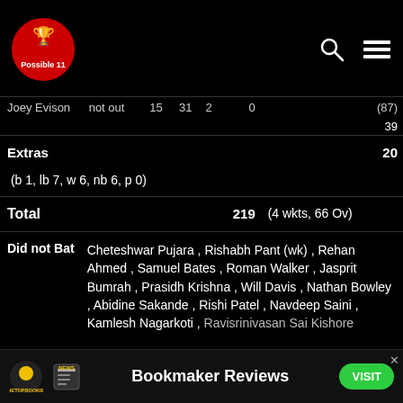Possible 11 — navigation header with logo, search and menu icons
| Player | Dismissal |  | R | B | 4s | 6s | SR |
| --- | --- | --- | --- | --- | --- | --- | --- |
| Joey Evison | not out |  | 15 | 31 | 2 | 0 | (87) | 39 |
|  |  |  |
| --- | --- | --- |
| Extras |  | 20 |
| (b 1, lb 7, w 6, nb 6, p 0) |  |  |
| Total | 219 | (4 wkts, 66 Ov) |
Did not Bat: Cheteshwar Pujara , Rishabh Pant (wk) , Rehan Ahmed , Samuel Bates , Roman Walker , Jasprit Bumrah , Prasidh Krishna , Will Davis , Nathan Bowley , Abidine Sakande , Rishi Patel , Navdeep Saini , Kamlesh Nagarkoti , Ravisrinivasan Sai Kishore
Bookmaker Reviews — VISIT (advertisement)